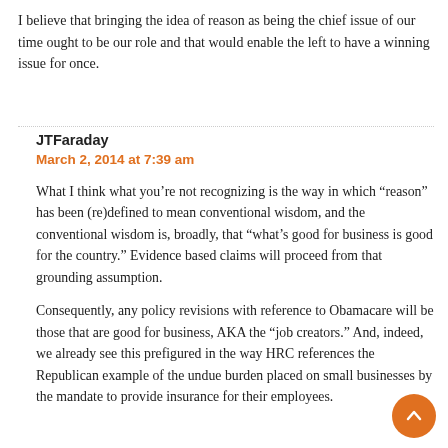I believe that bringing the idea of reason as being the chief issue of our time ought to be our role and that would enable the left to have a winning issue for once.
JTFaraday
March 2, 2014 at 7:39 am

What I think what you're not recognizing is the way in which “reason” has been (re)defined to mean conventional wisdom, and the conventional wisdom is, broadly, that “what’s good for business is good for the country.” Evidence based claims will proceed from that grounding assumption.

Consequently, any policy revisions with reference to Obamacare will be those that are good for business, AKA the “job creators.” And, indeed, we already see this prefigured in the way HRC references the Republican example of the undue burden placed on small businesses by the mandate to provide insurance for their employees.